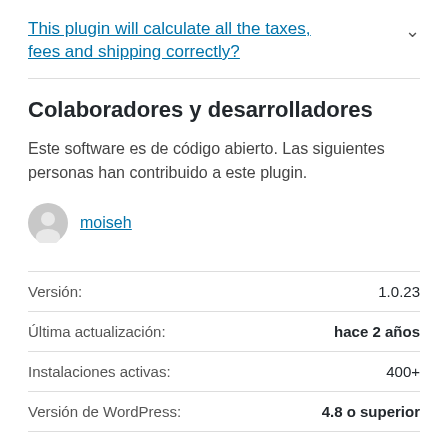This plugin will calculate all the taxes, fees and shipping correctly?
Colaboradores y desarrolladores
Este software es de código abierto. Las siguientes personas han contribuido a este plugin.
moiseh
| Label | Value |
| --- | --- |
| Versión: | 1.0.23 |
| Última actualización: | hace 2 años |
| Instalaciones activas: | 400+ |
| Versión de WordPress: | 4.8 o superior |